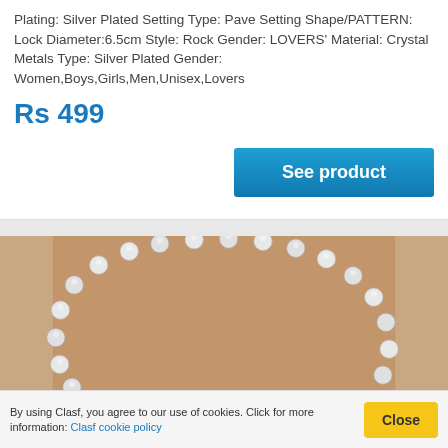Plating: Silver Plated Setting Type: Pave Setting Shape/PATTERN: Lock Diameter:6.5cm Style: Rock Gender: LOVERS' Material: Crystal Metals Type: Silver Plated Gender: Women,Boys,Girls,Men,Unisex,Lovers
Rs 499
See product
[Figure (photo): Close-up photo of a silver beaded bracelet on a tan/brown kraft paper background. The bracelet is circular and made of round silver metallic beads.]
By using Clasf, you agree to our use of cookies. Click for more information: Clasf cookie policy
Close